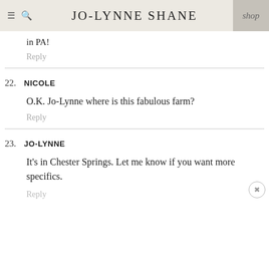JO-LYNNE SHANE
in PA!
Reply
22. NICOLE
O.K. Jo-Lynne where is this fabulous farm?
Reply
23. JO-LYNNE
It's in Chester Springs. Let me know if you want more specifics.
Reply